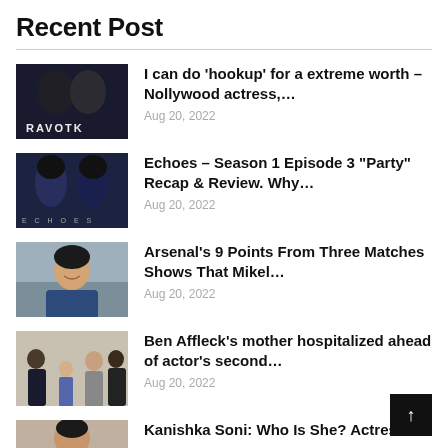Recent Post
I can do ‘hookup’ for a extreme worth – Nollywood actress,… Aug 20, 2022
Echoes – Season 1 Episode 3 “Party” Recap & Review. Why… Aug 20, 2022
Arsenal’s 9 Points From Three Matches Shows That Mikel… Aug 20, 2022
Ben Affleck’s mother hospitalized ahead of actor’s second… Aug 20, 2022
Kanishka Soni: Who Is She? Actress